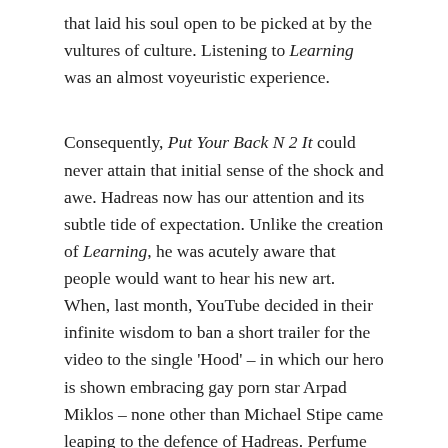that laid his soul open to be picked at by the vultures of culture. Listening to Learning was an almost voyeuristic experience.
Consequently, Put Your Back N 2 It could never attain that initial sense of the shock and awe. Hadreas now has our attention and its subtle tide of expectation. Unlike the creation of Learning, he was acutely aware that people would want to hear his new art. When, last month, YouTube decided in their infinite wisdom to ban a short trailer for the video to the single 'Hood' – in which our hero is shown embracing gay porn star Arpad Miklos – none other than Michael Stipe came leaping to the defence of Hadreas. Perfume Genius is now big news.
So, it is a significant personal triumph for Hadreas that Put Your Back N 2 It is so thrillingly excellent. Produced by Drew Morgan in three UK-based different studios, the dozen songs are wide-eyed and open in their clarity. Hadreas' vocal now sits at the head of the